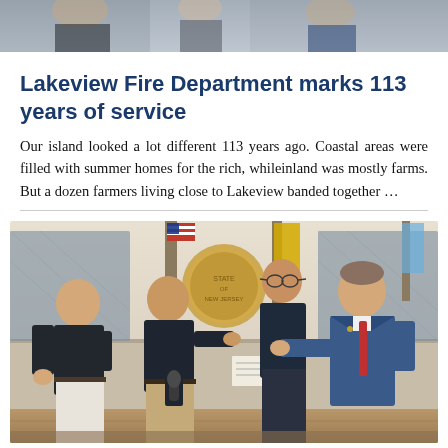[Figure (photo): Top portion of a photo, showing what appears to be a cropped image at the top of the page]
Lakeview Fire Department marks 113 years of service
Our island looked a lot different 113 years ago. Coastal areas were filled with summer homes for the rich, whileinland was mostly farms. But a dozen farmers living close to Lakeview banded together …
[Figure (photo): Four men standing in what appears to be a government chamber or meeting room. Two men on the left are wearing dark polo shirts, one younger man in the back center wearing a dark shirt, and a man on the right in a blue suit with a red tie. There are American and state flags in the background along with a government seal on the wall. The man in the suit appears to be handing something to one of the men in polo shirts, while another holds a microphone.]